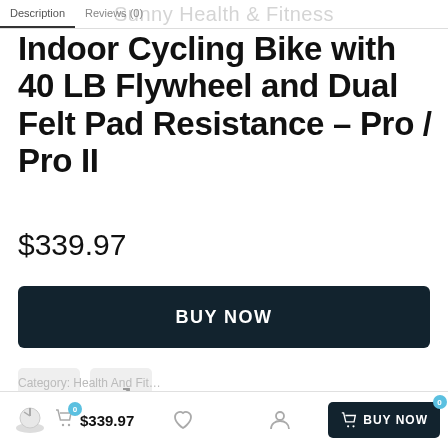Description | Reviews (0) | Sunny Health & Fitness
Indoor Cycling Bike with 40 LB Flywheel and Dual Felt Pad Resistance – Pro / Pro II
$339.97
BUY NOW
$339.97 | BUY NOW